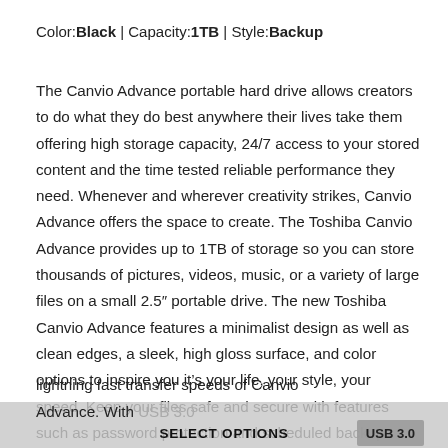Color:Black | Capacity:1TB | Style:Backup
The Canvio Advance portable hard drive allows creators to do what they do best anywhere their lives take them offering high storage capacity, 24/7 access to your stored content and the time tested reliable performance they need. Whenever and wherever creativity strikes, Canvio Advance offers the space to create. The Toshiba Canvio Advance provides up to 1TB of storage so you can store thousands of pictures, videos, music, or a variety of large files on a small 2.5″ portable drive. The new Toshiba Canvio Advance features a minimalist design as well as clean edges, a sleek, high gloss surface, and color options to inspire you it’s your life, your style, your speed. Keep your files safe and secure with features such as password protection and scheduled backup. Work at the speed of inspiration with the lightning fast transfer speeds of Canvio Advance. With USB 3.0
SELECT OPTIONS